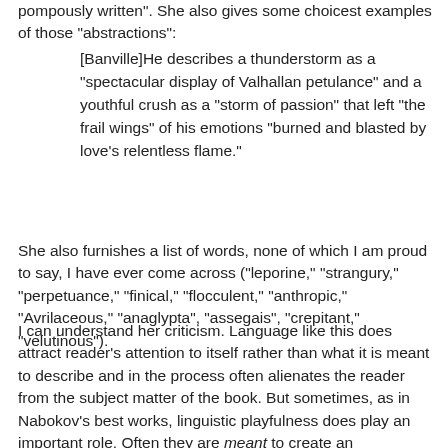pompously written". She also gives some choicest examples of those "abstractions":
[Banville]He describes a thunderstorm as a "spectacular display of Valhallan petulance" and a youthful crush as a "storm of passion" that left "the frail wings" of his emotions "burned and blasted by love's relentless flame."
She also furnishes a list of words, none of which I am proud to say, I have ever come across ("leporine," "strangury," "perpetuance," "finical," "flocculent," "anthropic," "Avrilaceous," "anaglypta", "assegais", "crepitant," "velutinous").
I can understand her criticism. Language like this does attract reader's attention to itself rather than what it is meant to describe and in the process often alienates the reader from the subject matter of the book. But sometimes, as in Nabokov's best works, linguistic playfulness does play an important role. Often they are meant to create an